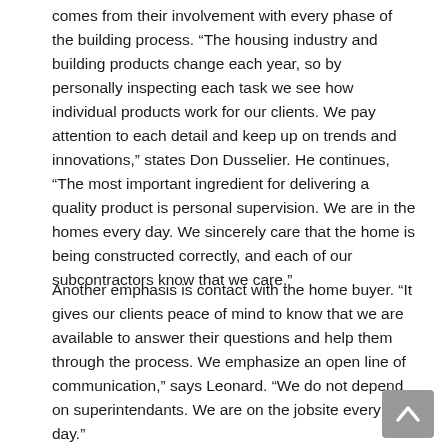comes from their involvement with every phase of the building process. “The housing industry and building products change each year, so by personally inspecting each task we see how individual products work for our clients. We pay attention to each detail and keep up on trends and innovations,” states Don Dusselier. He continues, “The most important ingredient for delivering a quality product is personal supervision. We are in the homes every day. We sincerely care that the home is being constructed correctly, and each of our subcontractors know that we care.”
Another emphasis is contact with the home buyer. “It gives our clients peace of mind to know that we are available to answer their questions and help them through the process. We emphasize an open line of communication,” says Leonard. “We do not depend on superintendants. We are on the jobsite every day.”